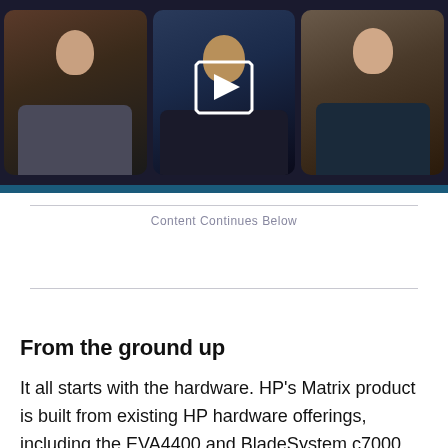[Figure (screenshot): Video thumbnail showing three people in a video call layout with a play button overlay in the center panel]
Content Continues Below
From the ground up
It all starts with the hardware. HP's Matrix product is built from existing HP hardware offerings, including the EVA4400 and BladeSystem c7000 blade chassis. In the mix are the usual Fibre Channel SAN fabric switches and